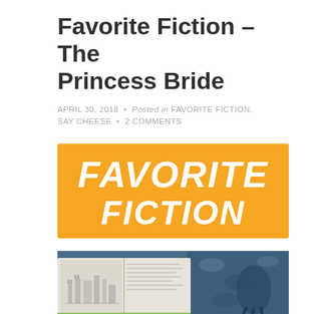Favorite Fiction – The Princess Bride
APRIL 30, 2018 • Posted in FAVORITE FICTION, SAY CHEESE • 2 COMMENTS
[Figure (illustration): Orange/yellow banner graphic with white hand-lettered text reading FAVORITE FICTION]
[Figure (photo): Photo of an open book with a pencil illustration of a castle on the left page and text on the right page, with blue patterned fabric and what appears to be a blue dragon or creature in the background]